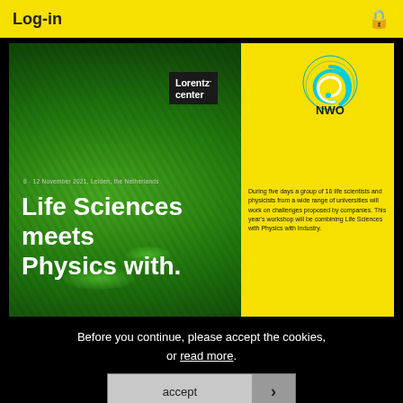Log-in
[Figure (illustration): Lorentz Center and NWO workshop banner for 'Life Sciences meets Physics with Industry', 8-12 November 2021, Leiden, the Netherlands. Dark green textured background with yellow right panel showing NWO logo. White bold text reads: Life Sciences meets Physics with]
8 - 12 November 2021, Leiden, the Netherlands
During five days a group of 16 life scientists and physicists from a wide range of universities will work on challenges proposed by companies. This year's workshop will be combining Life Sciences with Physics with Industry.
Before you continue, please accept the cookies, or read more.
accept